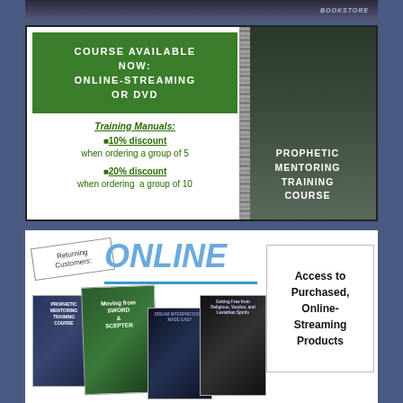[Figure (illustration): Top dark banner with bookstore text]
[Figure (infographic): Course advertisement box showing green banner 'COURSE AVAILABLE NOW: ONLINE-STREAMING OR DVD', training manuals with 10% and 20% discount info, and Prophetic Mentoring Training Course book cover on right]
[Figure (infographic): Bottom section showing Returning Customers ONLINE text, book covers (Prophetic Mentoring Training Course, Sword and Scepter, and others), and Access to Purchased Online-Streaming Products box]